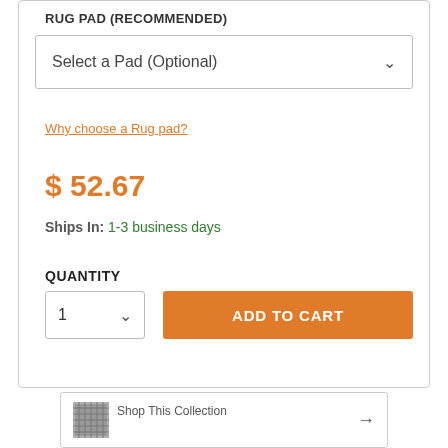RUG PAD (RECOMMENDED)
Select a Pad (Optional)
Why choose a Rug pad?
$ 52.67
Ships In: 1-3 business days
QUANTITY
1
ADD TO CART
Shop This Collection